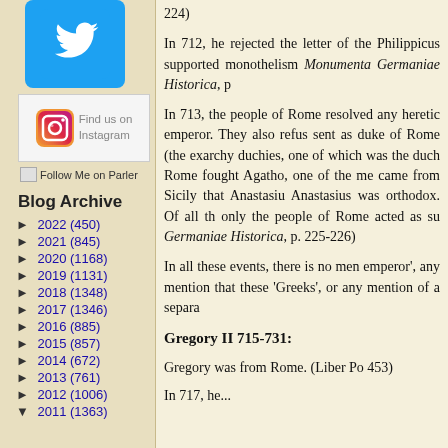[Figure (logo): Twitter bird logo icon, light blue background]
[Figure (logo): Instagram logo with Find us on Instagram text]
Follow Me on Parler
Blog Archive
► 2022 (450)
► 2021 (845)
► 2020 (1168)
► 2019 (1131)
► 2018 (1348)
► 2017 (1346)
► 2016 (885)
► 2015 (857)
► 2014 (672)
► 2013 (761)
► 2012 (1006)
▼ 2011 (1363)
224)
In 712, he rejected the letter of the Philippicus supported monothelism Monumenta Germaniae Historica, p
In 713, the people of Rome resolved any heretic emperor. They also refus sent as duke of Rome (the exarchy duchies, one of which was the duch Rome fought Agatho, one of the me came from Sicily that Anastasiu Anastasius was orthodox. Of all th only the people of Rome acted as su Germaniae Historica, p. 225-226)
In all these events, there is no men emperor', any mention that these 'Greeks', or any mention of a separa
Gregory II 715-731:
Gregory was from Rome. (Liber Po 453)
In 717, he...